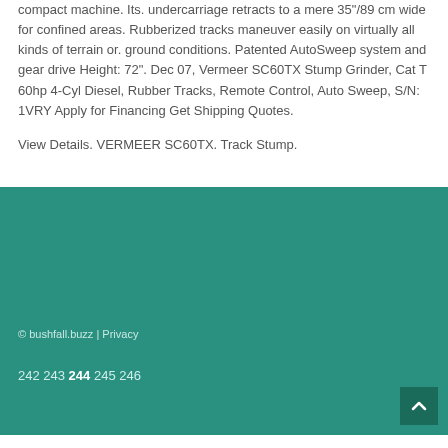compact machine. Its. undercarriage retracts to a mere 35"/89 cm wide for confined areas. Rubberized tracks maneuver easily on virtually all kinds of terrain or. ground conditions. Patented AutoSweep system and gear drive Height: 72". Dec 07, Vermeer SC60TX Stump Grinder, Cat T 60hp 4-Cyl Diesel, Rubber Tracks, Remote Control, Auto Sweep, S/N: 1VRY Apply for Financing Get Shipping Quotes.
View Details. VERMEER SC60TX. Track Stump.
© bushfall.buzz | Privacy
242 243 244 245 246